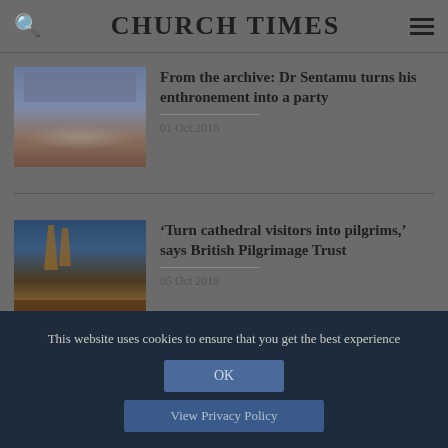CHURCH TIMES
[Figure (photo): Crowd of people at an event, colorful flags and banners visible]
From the archive: Dr Sentamu turns his enthronement into a party
01 Oct 2018
[Figure (photo): Gothic cathedral exterior lit at dusk with blue sky background]
‘Turn cathedral visitors into pilgrims,’ says British Pilgrimage Trust
05 Oct 2018
This website uses cookies to ensure that you get the best experience
OK
View Privacy Policy